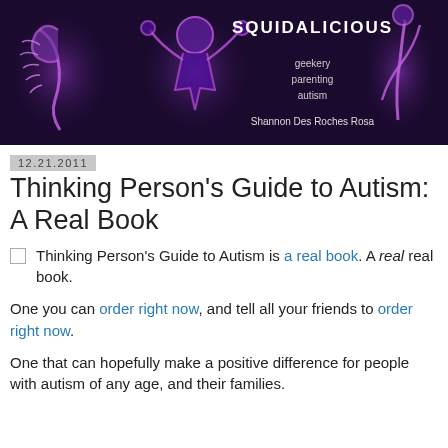[Figure (illustration): Squidalicious blog banner with dark purple/black background showing glowing purple figures in various poses. Text reads SQUIDALICIOUS, geekery, parenting, autism, Shannon Des Roches Rosa.]
12.21.2011
Thinking Person's Guide to Autism: A Real Book
Thinking Person's Guide to Autism is a real book. A real real book.
One you can order right now, and tell all your friends to order right now.
One that can hopefully make a positive difference for people with autism of any age, and their families.